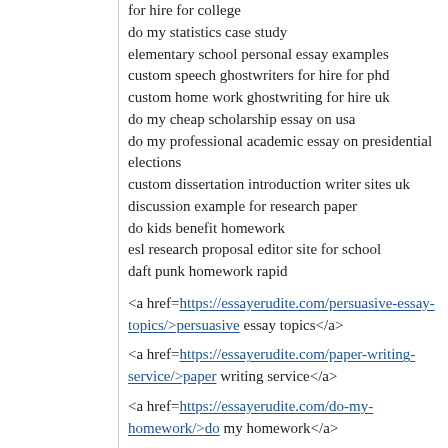for hire for college
do my statistics case study
elementary school personal essay examples
custom speech ghostwriters for hire for phd
custom home work ghostwriting for hire uk
do my cheap scholarship essay on usa
do my professional academic essay on presidential elections
custom dissertation introduction writer sites uk
discussion example for research paper
do kids benefit homework
esl research proposal editor site for school
daft punk homework rapid
<a href=https://essayerudite.com/persuasive-essay-topics/>persuasive essay topics</a>
<a href=https://essayerudite.com/paper-writing-service/>paper writing service</a>
<a href=https://essayerudite.com/do-my-homework/>do my homework</a>